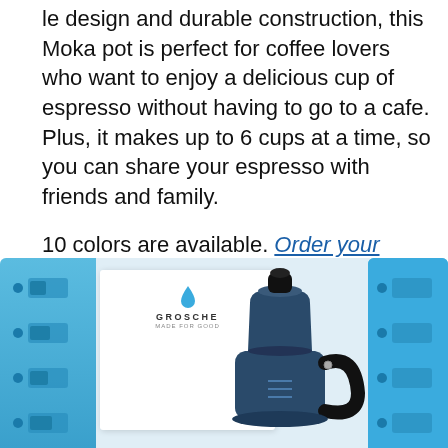le design and durable construction, this Moka pot is perfect for coffee lovers who want to enjoy a delicious cup of espresso without having to go to a cafe. Plus, it makes up to 6 cups at a time, so you can share your espresso with friends and family.

10 colors are available. Order your GROSCHE Milano Moka pot today!
[Figure (photo): GROSCHE Milano Moka pot product image showing the blue moka pot next to its product box packaging. The box has a white front with GROSCHE logo and blue side strip with product icons. A second partial image appears on the right edge.]